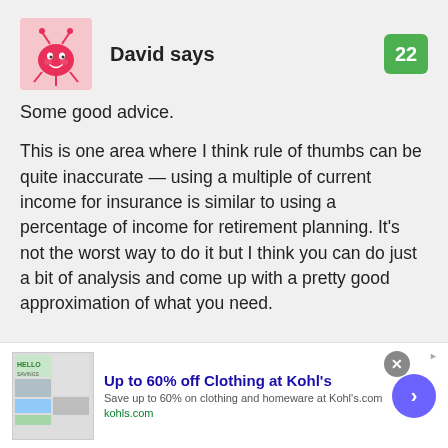[Figure (illustration): Pink cartoon bug/creature avatar icon on a light pink background]
David says
22
Some good advice.
This is one area where I think rule of thumbs can be quite inaccurate — using a multiple of current income for insurance is similar to using a percentage of income for retirement planning. It's not the worst way to do it but I think you can do just a bit of analysis and come up with a pretty good approximation of what you need.
[Figure (screenshot): Advertisement banner: Up to 60% off Clothing at Kohl's. Save up to 60% on clothing and homeware at Kohls.com. kohls.com]